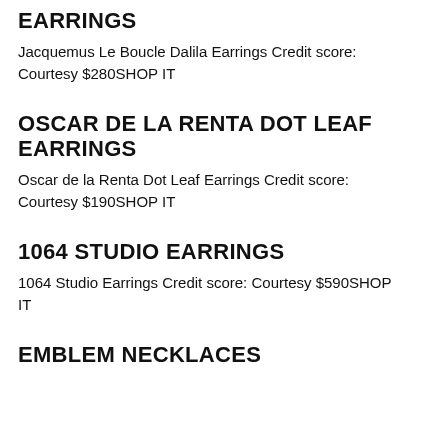EARRINGS
Jacquemus Le Boucle Dalila Earrings Credit score: Courtesy $280SHOP IT
OSCAR DE LA RENTA DOT LEAF EARRINGS
Oscar de la Renta Dot Leaf Earrings Credit score: Courtesy $190SHOP IT
1064 STUDIO EARRINGS
1064 Studio Earrings Credit score: Courtesy $590SHOP IT
EMBLEM NECKLACES